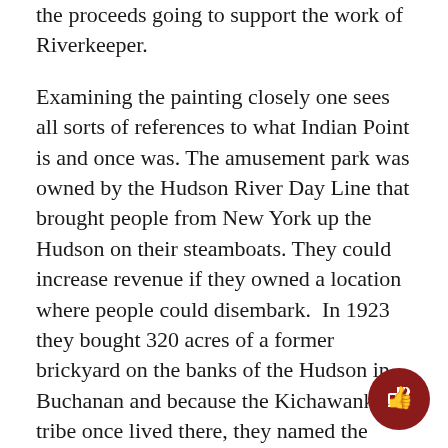the proceeds going to support the work of Riverkeeper.
Examining the painting closely one sees all sorts of references to what Indian Point is and once was. The amusement park was owned by the Hudson River Day Line that brought people from New York up the Hudson on their steamboats. They could increase revenue if they owned a location where people could disembark.  In 1923 they bought 320 acres of a former brickyard on the banks of the Hudson in Buchanan and because the Kichawank tribe once lived there, they named the park Indian Point. It had beautiful wooded paths, much like New York's Central Park, good for picnicking and strolling. There was a beach with a small bathing area, ball fields and a dance pavilion along with terraced lawns.  Six years later the company bu...
[Figure (other): Dark red thumbs-up button icon in circle at bottom right corner]